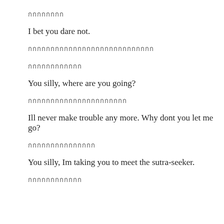กกกกกกกก
I bet you dare not.
กกกกกกกกกกกกกกกกกกกกกกกกกกกก
กกกกกกกกกกกก
You silly, where are you going?
กกกกกกกกกกกกกกกกกกกกกก
Ill never make trouble any more. Why dont you let me go?
กกกกกกกกกกกกกกก
You silly, Im taking you to meet the sutra-seeker.
กกกกกกกกกกกก